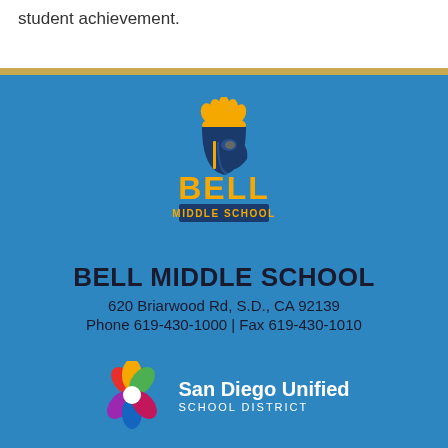student achievement.
[Figure (logo): Bell Middle School logo — golden Spartan helmet above bold text BELL MIDDLE SCHOOL in navy and gold]
BELL MIDDLE SCHOOL
620 Briarwood Rd, S.D., CA 92139
Phone 619-430-1000 | Fax 619-430-1010
[Figure (logo): San Diego Unified School District logo — colorful star-flower icon with San Diego Unified SCHOOL DISTRICT text]
Family Engagement